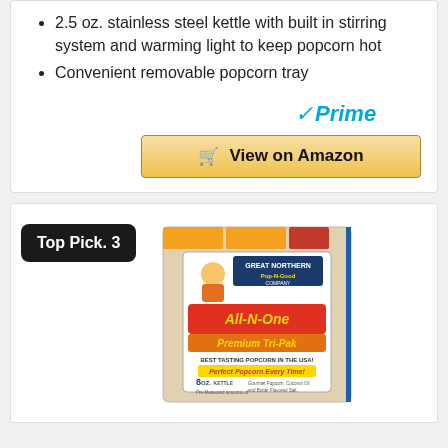2.5 oz. stainless steel kettle with built in stirring system and warming light to keep popcorn hot
Convenient removable popcorn tray
[Figure (logo): Amazon Prime logo with checkmark and 'Prime' in blue italic text]
View on Amazon
Top Pick. 3
[Figure (photo): Great Northern Pop-N-Good Company All-N-One Premium Tri-Pak 8oz popcorn kit package with kernels visible through clear packaging]